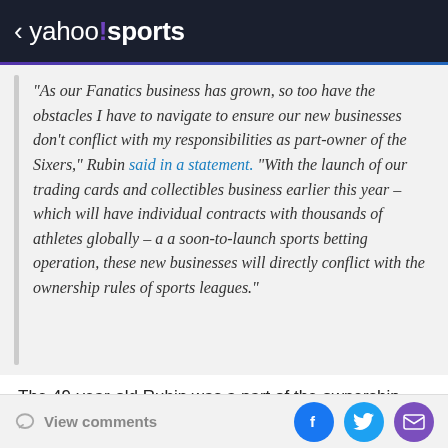< yahoo!sports
"As our Fanatics business has grown, so too have the obstacles I have to navigate to ensure our new businesses don't conflict with my responsibilities as part-owner of the Sixers," Rubin said in a statement. "With the launch of our trading cards and collectibles business earlier this year – which will have individual contracts with thousands of athletes globally – a a soon-to-launch sports betting operation, these new businesses will directly conflict with the ownership rules of sports leagues."
The 49-year-old Rubin was a part of the ownership group
View comments